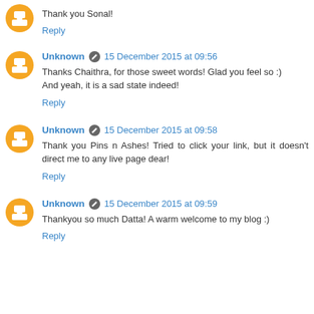Thank you Sonal!
Reply
Unknown  15 December 2015 at 09:56
Thanks Chaithra, for those sweet words! Glad you feel so :) And yeah, it is a sad state indeed!
Reply
Unknown  15 December 2015 at 09:58
Thank you Pins n Ashes! Tried to click your link, but it doesn't direct me to any live page dear!
Reply
Unknown  15 December 2015 at 09:59
Thankyou so much Datta! A warm welcome to my blog :)
Reply